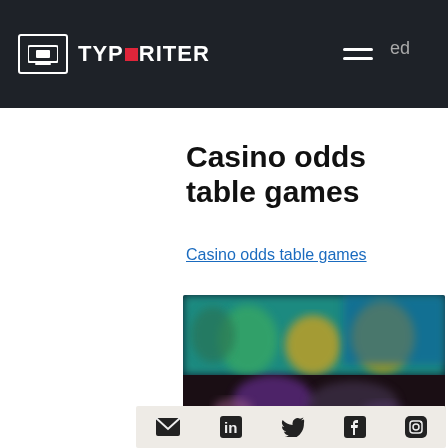TYPORITER
Casino odds table games
Casino odds table games
[Figure (screenshot): Blurred screenshot of a casino table games interface with colorful animated characters and a dark table layout.]
Social share icons: email, LinkedIn, Twitter, Facebook, Instagram